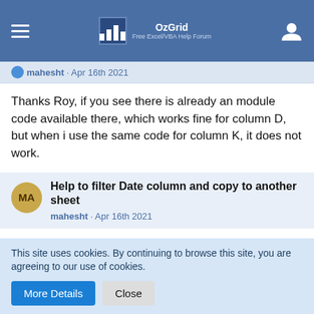OzGrid Free Excel/VBA Help Forum
mahesht · Apr 16th 2021
Thanks Roy, if you see there is already an module code available there, which works fine for column D, but when i use the same code for column K, it does not work.
Help to filter Date column and copy to another sheet
mahesht · Apr 16th 2021
Thanks Carim for the link, will check that out.
if you dont mind just one thing i wanted from the attached
This site uses cookies. By continuing to browse this site, you are agreeing to our use of cookies.